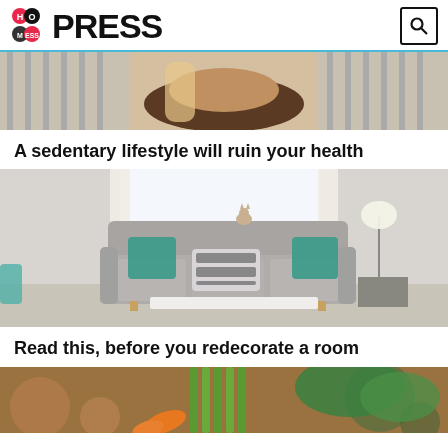Hot Mess Press
[Figure (photo): Person holding a dark pillow, partial view, striped background]
A sedentary lifestyle will ruin your health
[Figure (photo): Bright living room with a grey tufted sofa decorated with teal and patterned pillows, white curtains, lamp in background]
Read this, before you redecorate a room
[Figure (photo): Close-up of vegetables including celery, carrots on a surface]